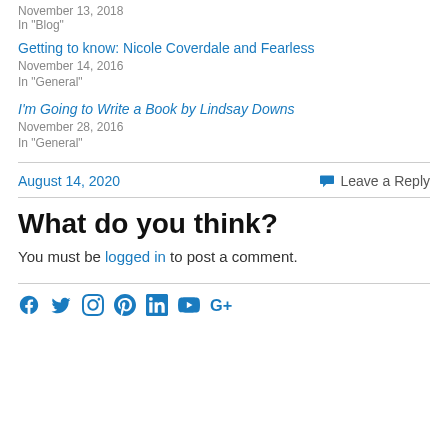November 13, 2018
In "Blog"
Getting to know: Nicole Coverdale and Fearless
November 14, 2016
In "General"
I'm Going to Write a Book by Lindsay Downs
November 28, 2016
In "General"
August 14, 2020
Leave a Reply
What do you think?
You must be logged in to post a comment.
[Figure (other): Social media icons: Facebook, Twitter, Instagram, Pinterest, LinkedIn, YouTube, Google+]